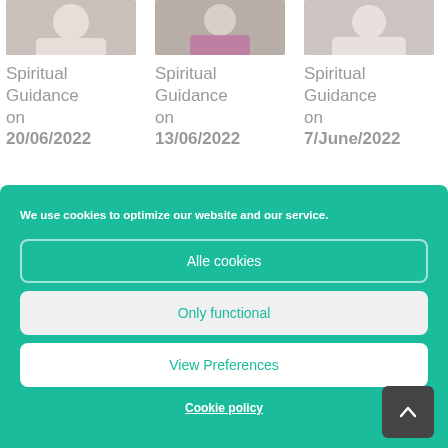[Figure (photo): Three portrait photos of women in a row at top of page]
Spiritual Guidance on 20/06/2022
Spiritual Guidance on 13/06/2022
Spiritual Guidance on 7/June/2022
We use cookies to optimize our website and our service.
Alle cookies
Only functional
View Preferences
Cookie policy